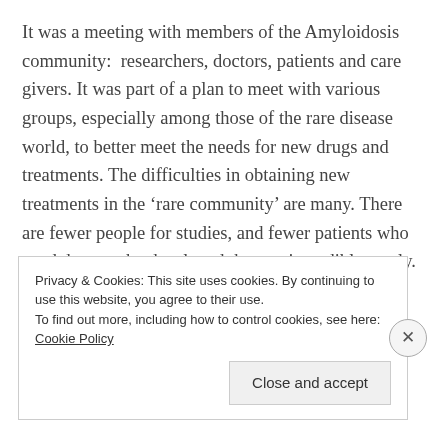It was a meeting with members of the Amyloidosis community:  researchers, doctors, patients and care givers. It was part of a plan to meet with various groups, especially among those of the rare disease world, to better meet the needs for new drugs and treatments. The difficulties in obtaining new treatments in the 'rare community' are many. There are fewer people for studies, and fewer patients who need drugs to be developed that are incredibly costly. It's one of those things I had little interest in, until it became a huge part
Privacy & Cookies: This site uses cookies. By continuing to use this website, you agree to their use.
To find out more, including how to control cookies, see here: Cookie Policy
Close and accept